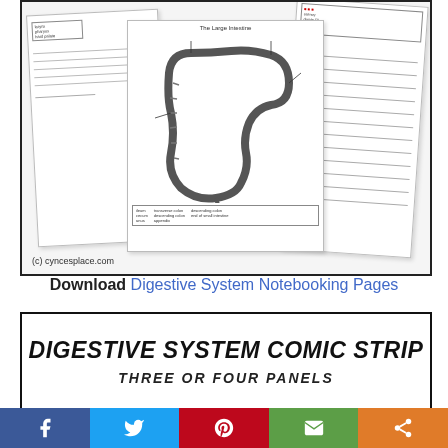[Figure (illustration): Preview of Digestive System Notebooking Pages showing three overlapping worksheet pages: left page has a diagram with label boxes, center page shows 'The Large Intestine' anatomy diagram, right page has lined notebooking paper with text boxes. Copyright (c) cyncesplace.com at bottom left.]
Download Digestive System Notebooking Pages
[Figure (illustration): Preview of Digestive System Comic Strip worksheet showing bold stylized title text 'DIGESTIVE SYSTEM COMIC STRIP' and subtitle 'THREE OR FOUR PANELS' on white background with black border.]
Facebook | Twitter | Pinterest | Email | Share